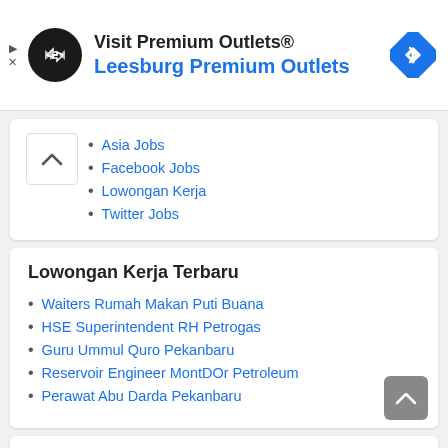[Figure (screenshot): Advertisement banner for Visit Premium Outlets® - Leesburg Premium Outlets with logo and navigation icon]
Asia Jobs
Facebook Jobs
Lowongan Kerja
Twitter Jobs
Lowongan Kerja Terbaru
Waiters Rumah Makan Puti Buana
HSE Superintendent RH Petrogas
Guru Ummul Quro Pekanbaru
Reservoir Engineer MontDOr Petroleum
Perawat Abu Darda Pekanbaru
Lowongan yang dicari